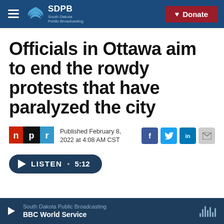SDPB South Dakota Public Broadcasting | Donate
Officials in Ottawa aim to end the rowdy protests that have paralyzed the city
Published February 8, 2022 at 4:08 AM CST
LISTEN • 5:12
South Dakota Public Broadcasting
BBC World Service